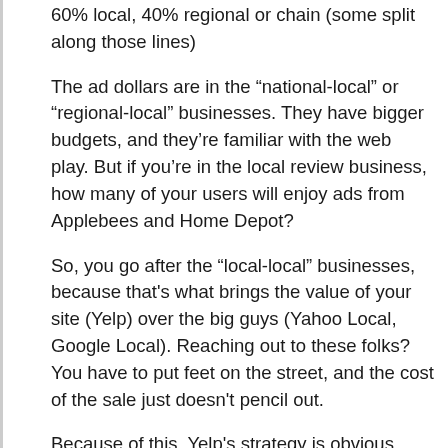60% local, 40% regional or chain (some split along those lines)
The ad dollars are in the “national-local” or “regional-local” businesses. They have bigger budgets, and they’re familiar with the web play. But if you’re in the local review business, how many of your users will enjoy ads from Applebees and Home Depot?
So, you go after the “local-local” businesses, because that’s what brings the value of your site (Yelp) over the big guys (Yahoo Local, Google Local). Reaching out to these folks? You have to put feet on the street, and the cost of the sale just doesn’t pencil out.
Because of this, Yelp’s strategy is obvious acquisition. But at those numbers and a fourth round, they need to be eclipsing the {portal-name-here} Local properties in traffic. In short, good luck.